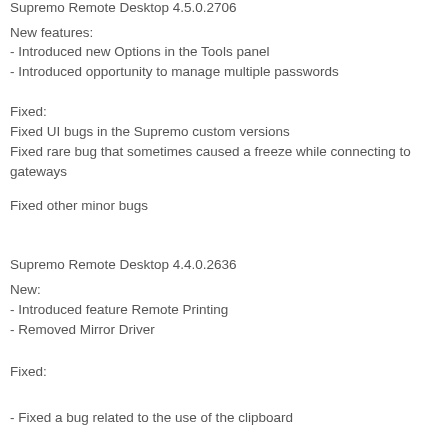Supremo Remote Desktop 4.5.0.2706
New features:
- Introduced new Options in the Tools panel
- Introduced opportunity to manage multiple passwords
Fixed:
Fixed UI bugs in the Supremo custom versions
Fixed rare bug that sometimes caused a freeze while connecting to gateways
Fixed other minor bugs
Supremo Remote Desktop 4.4.0.2636
New:
- Introduced feature Remote Printing
- Removed Mirror Driver
Fixed:
- Fixed a bug related to the use of the clipboard